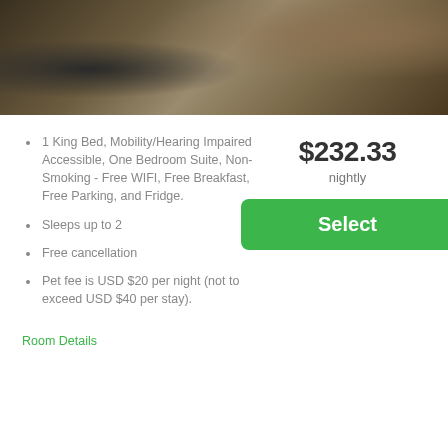[Figure (photo): Hotel room photo showing a king bed with white linens and a brown/tan blanket, a dark wood nightstand with a phone, and an office chair on carpet flooring.]
1 King Bed, Mobility/Hearing Impaired Accessible, One Bedroom Suite, Non-Smoking - Free WIFI, Free Breakfast, Free Parking, and Fridge.
Sleeps up to 2
Free cancellation
Pet fee is USD $20 per night (not to exceed USD $40 per stay).
$232.33 nightly
Select
Room Details